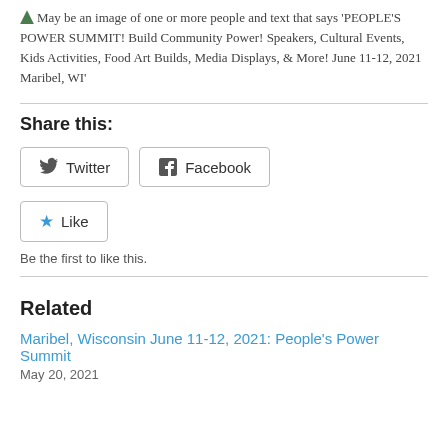[Figure (illustration): Alt text description of an image: green triangle icon followed by text 'May be an image of one or more people and text that says PEOPLE'S POWER SUMMIT! Build Community Power! Speakers, Cultural Events, Kids Activities, Food Art Builds, Media Displays, & More! June 11-12, 2021 Maribel, WI']
Share this:
Twitter | Facebook buttons
Like | Be the first to like this.
Related
Maribel, Wisconsin June 11-12, 2021: People's Power Summit
May 20, 2021